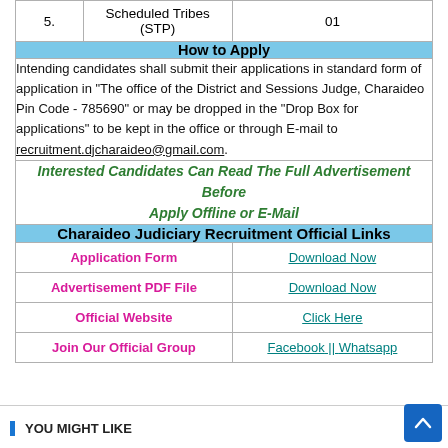| # | Category | Count |
| --- | --- | --- |
| 5. | Scheduled Tribes (STP) | 01 |
How to Apply
Intending candidates shall submit their applications in standard form of application in "The office of the District and Sessions Judge, Charaideo Pin Code - 785690" or may be dropped in the "Drop Box for applications" to be kept in the office or through E-mail to recruitment.djcharaideo@gmail.com.
Interested Candidates Can Read The Full Advertisement Before Apply Offline or E-Mail
Charaideo Judiciary Recruitment Official Links
| Link Name | Action |
| --- | --- |
| Application Form | Download Now |
| Advertisement PDF File | Download Now |
| Official Website | Click Here |
| Join Our Official Group | Facebook || Whatsapp |
YOU MIGHT LIKE